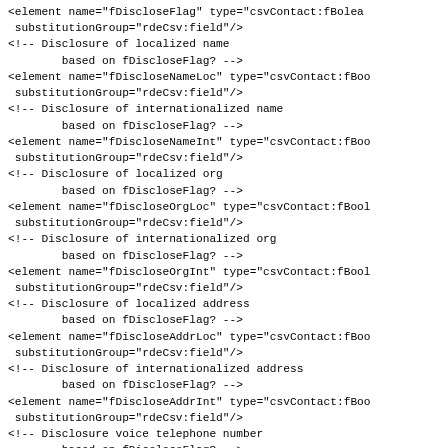<element name="fDiscloseFlag" type="csvContact:fBoolean" substitutionGroup="rdeCsv:field"/>
<!-- Disclosure of localized name
        based on fDiscloseFlag? -->
<element name="fDiscloseNameLoc" type="csvContact:fBoo...
 substitutionGroup="rdeCsv:field"/>
<!-- Disclosure of internationalized name
        based on fDiscloseFlag? -->
<element name="fDiscloseNameInt" type="csvContact:fBoo...
 substitutionGroup="rdeCsv:field"/>
<!-- Disclosure of localized org
        based on fDiscloseFlag? -->
<element name="fDiscloseOrgLoc" type="csvContact:fBool...
 substitutionGroup="rdeCsv:field"/>
<!-- Disclosure of internationalized org
        based on fDiscloseFlag? -->
<element name="fDiscloseOrgInt" type="csvContact:fBool...
 substitutionGroup="rdeCsv:field"/>
<!-- Disclosure of localized address
        based on fDiscloseFlag? -->
<element name="fDiscloseAddrLoc" type="csvContact:fBoo...
 substitutionGroup="rdeCsv:field"/>
<!-- Disclosure of internationalized address
        based on fDiscloseFlag? -->
<element name="fDiscloseAddrInt" type="csvContact:fBoo...
 substitutionGroup="rdeCsv:field"/>
<!-- Disclosure voice telephone number
        based on fDiscloseFlag? -->
<element name="fDiscloseVoice" type="csvContact:fBoole...
 substitutionGroup="rdeCsv:field"/>